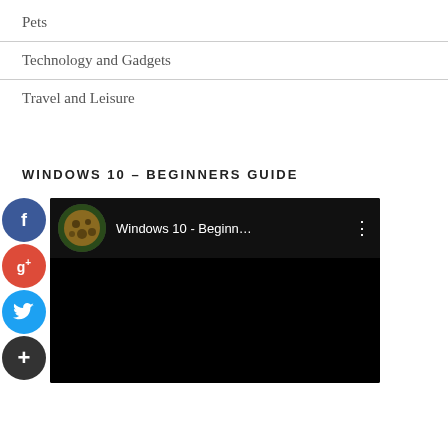Pets
Technology and Gadgets
Travel and Leisure
WINDOWS 10 – BEGINNERS GUIDE
[Figure (screenshot): Embedded YouTube-style video player showing 'Windows 10 - Beginn...' with social sharing buttons (Facebook, Google+, Twitter, plus) on the left side.]